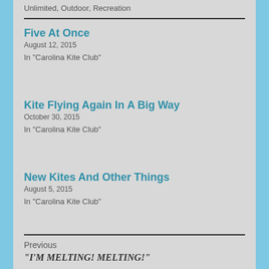Unlimited, Outdoor, Recreation
Five At Once
August 12, 2015
In "Carolina Kite Club"
Kite Flying Again In A Big Way
October 30, 2015
In "Carolina Kite Club"
New Kites And Other Things
August 5, 2015
In "Carolina Kite Club"
Previous
“I’M MELTING! MELTING!”